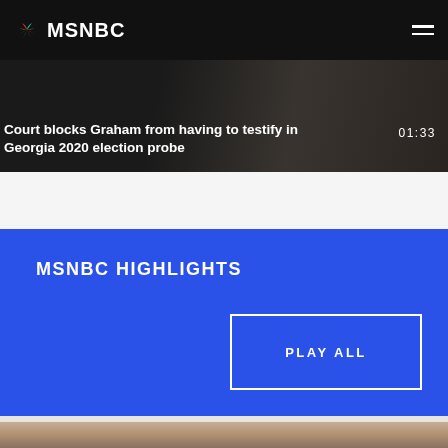MSNBC
Court blocks Graham from having to testify in Georgia 2020 election probe
01:33
MSNBC HIGHLIGHTS
PLAY ALL
[Figure (photo): Close-up photo of a person's face at the bottom of the page]